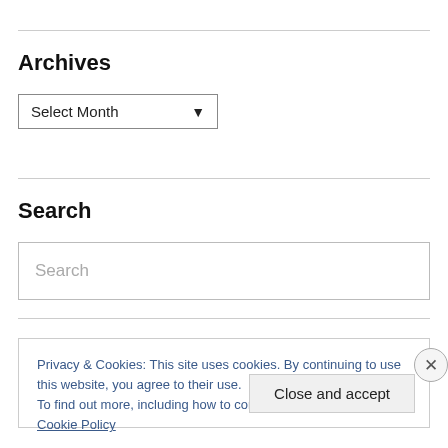Archives
[Figure (screenshot): A dropdown select input labeled 'Select Month' with a downward arrow]
Search
[Figure (screenshot): A search input box with placeholder text 'Search']
Privacy & Cookies: This site uses cookies. By continuing to use this website, you agree to their use.
To find out more, including how to control cookies, see here: Cookie Policy
Close and accept